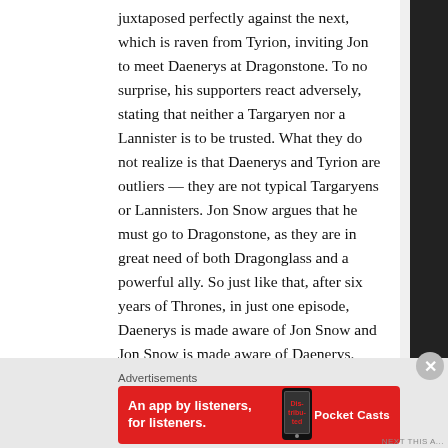juxtaposed perfectly against the next, which is raven from Tyrion, inviting Jon to meet Daenerys at Dragonstone. To no surprise, his supporters react adversely, stating that neither a Targaryen nor a Lannister is to be trusted. What they do not realize is that Daenerys and Tyrion are outliers — they are not typical Targaryens or Lannisters. Jon Snow argues that he must go to Dragonstone, as they are in great need of both Dragonglass and a powerful ally. So just like that, after six years of Thrones, in just one episode, Daenerys is made aware of Jon Snow and Jon Snow is made aware of Daenerys. What neither of them have been made aware of yet is that Daenerys is Jon's aunt and Jon is Daenerys' nephew. Of course, Jon is not yet even aware that he is half Targaryen. But, with the way ravens have been flying around and dropping knowledge in these first two episodes, it might not be much longer until he finds that out.
Advertisements
[Figure (illustration): Red advertisement banner for Pocket Casts app: 'An app by listeners, for listeners.' with Pocket Casts logo on right and a phone image in the center.]